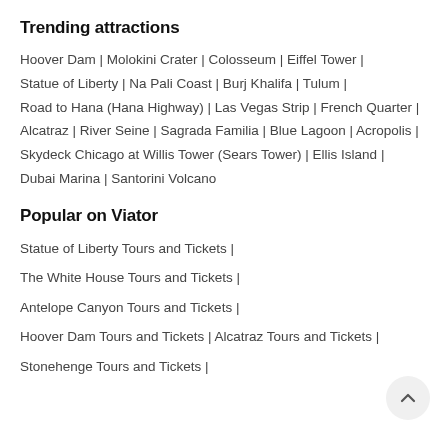Trending attractions
Hoover Dam | Molokini Crater | Colosseum | Eiffel Tower | Statue of Liberty | Na Pali Coast | Burj Khalifa | Tulum | Road to Hana (Hana Highway) | Las Vegas Strip | French Quarter | Alcatraz | River Seine | Sagrada Familia | Blue Lagoon | Acropolis | Skydeck Chicago at Willis Tower (Sears Tower) | Ellis Island | Dubai Marina | Santorini Volcano
Popular on Viator
Statue of Liberty Tours and Tickets |
The White House Tours and Tickets |
Antelope Canyon Tours and Tickets |
Hoover Dam Tours and Tickets | Alcatraz Tours and Tickets |
Stonehenge Tours and Tickets |